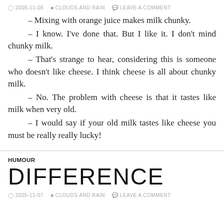2005-11-08  CLOUDS AND RAIN  LEAVE A COMMENT
– Mixing with orange juice makes milk chunky.
– I know. I've done that. But I like it. I don't mind chunky milk.
– That's strange to hear, considering this is someone who doesn't like cheese. I think cheese is all about chunky milk.
– No. The problem with cheese is that it tastes like milk when very old.
– I would say if your old milk tastes like cheese you must be really really lucky!
HUMOUR
DIFFERENCE
2005-11-07  CLOUDS AND RAIN  LEAVE A COMMENT